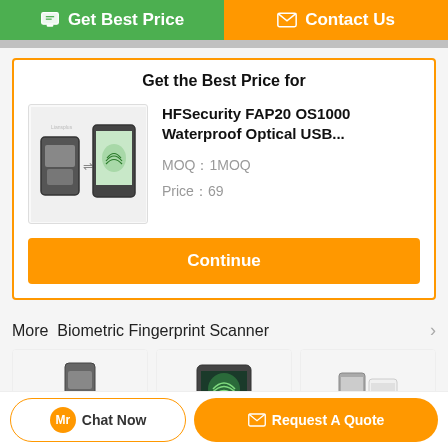[Figure (screenshot): Two top navigation buttons: green 'Get Best Price' button and orange 'Contact Us' button]
Get the Best Price for
[Figure (photo): Product image of HFSecurity FAP20 OS1000 Waterproof Optical USB fingerprint scanner device]
HFSecurity FAP20 OS1000 Waterproof Optical USB...
MOQ：1MOQ
Price：69
Continue
More  Biometric Fingerprint Scanner
[Figure (photo): HF-7000 fingerprint scanner product image]
[Figure (photo): OS300 Android fingerprint scanner product image]
[Figure (photo): HF4000plus fingerprint scanner product image]
HF-7000 Boo...
OS300 Android...
HF4000plus...
Chat Now   Request A Quote